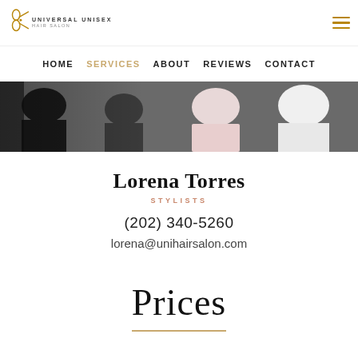Universal Unisex Hair Salon logo and navigation menu
HOME  SERVICES  ABOUT  REVIEWS  CONTACT
[Figure (photo): Salon interior photo strip showing stylists and customers in dark and light tones]
Lorena Torres
STYLISTS
(202) 340-5260
lorena@unihairsalon.com
Prices